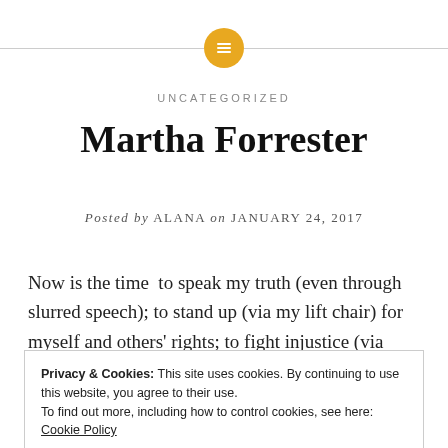[Figure (logo): Gold circular icon with white lines/menu icon, flanked by horizontal gray lines]
UNCATEGORIZED
Martha Forrester
Posted by ALANA on JANUARY 24, 2017
Now is the time  to speak my truth (even through slurred speech); to stand up (via my lift chair) for myself and others' rights; to fight injustice (via support
Privacy & Cookies: This site uses cookies. By continuing to use this website, you agree to their use.
To find out more, including how to control cookies, see here: Cookie Policy
Close and accept
Born in Savannah, GA, I moved to the SF Bay area for a